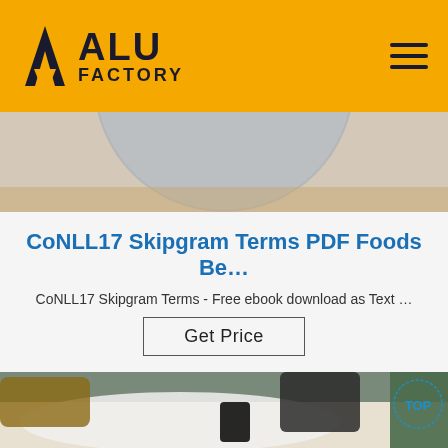ALU FACTORY
[Figure (photo): Partial view of a round metallic or ceramic object on a light background]
CoNLL17 Skipgram Terms PDF Foods Be…
CoNLL17 Skipgram Terms - Free ebook download as Text …
Get Price
[Figure (photo): Hands handling a plastic bag with a device, TOP badge visible in bottom right corner]